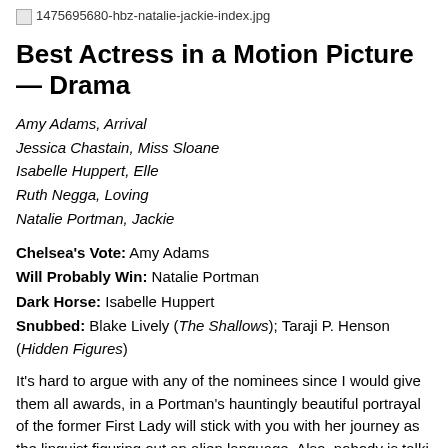[Figure (photo): Broken image placeholder: 1475695680-hbz-natalie-jackie-index.jpg]
Best Actress in a Motion Picture — Drama
Amy Adams, Arrival
Jessica Chastain, Miss Sloane
Isabelle Huppert, Elle
Ruth Negga, Loving
Natalie Portman, Jackie
Chelsea's Vote: Amy Adams
Will Probably Win: Natalie Portman
Dark Horse: Isabelle Huppert
Snubbed: Blake Lively (The Shallows); Taraji P. Henson (Hidden Figures)
It's hard to argue with any of the nominees since I would give them all awards, in a Portman's hauntingly beautiful portrayal of the former First Lady will stick with you with her journey as the linguist figuring out an alien language. Also, nobody is talki Blake Lively was in The Shallows, and I've been saying since the summer that it's
[Figure (photo): Broken image placeholder: The-Edge-of-Seventeen-2016-Full-Movie-Download-Bluray]